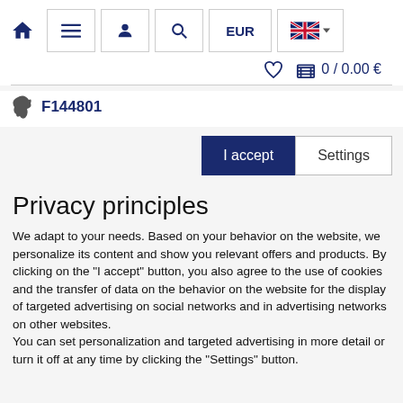[Figure (screenshot): Website navigation bar with home icon, hamburger menu, user icon, search icon, EUR currency selector, and UK flag language selector]
[Figure (screenshot): Wishlist heart icon and shopping cart showing 0 / 0.00 €]
F144801
[Figure (screenshot): Cookie consent buttons: 'I accept' (dark blue) and 'Settings' (white)]
Privacy principles
We adapt to your needs. Based on your behavior on the website, we personalize its content and show you relevant offers and products. By clicking on the "I accept" button, you also agree to the use of cookies and the transfer of data on the behavior on the website for the display of targeted advertising on social networks and in advertising networks on other websites.
You can set personalization and targeted advertising in more detail or turn it off at any time by clicking the "Settings" button.